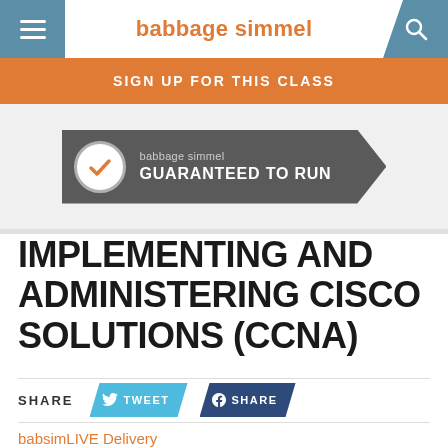babbage simmel
SIGN UP FOR THIS CLASS
[Figure (logo): babbage simmel Guaranteed to Run badge — dark gray chevron badge with circular checkmark icon and text 'babbage simmel GUARANTEED TO RUN']
IMPLEMENTING AND ADMINISTERING CISCO SOLUTIONS (CCNA)
SHARE  TWEET  SHARE
babsimLIVE Delivery